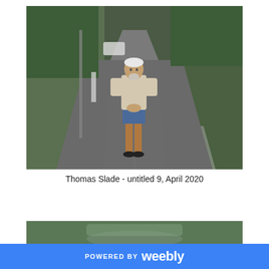[Figure (photo): An elderly man with white hair and beard stands in the middle of a rural road holding something in his hands, wearing a beige knit sweater, blue shorts, and black shoes. The road stretches into the distance with green trees and vegetation on either side, and a white car is parked near the side of the road in the background.]
Thomas Slade - untitled 9, April 2020
[Figure (photo): Partial view of a second photograph showing greenery and what appears to be a road or water surface, cropped at the bottom of the page.]
POWERED BY weebly